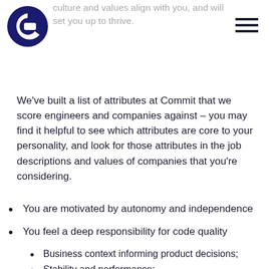culture and values align with you, and will set you up to thrive.
We've built a list of attributes at Commit that we score engineers and companies against – you may find it helpful to see which attributes are core to your personality, and look for those attributes in the job descriptions and values of companies that you're considering.
You are motivated by autonomy and independence
You feel a deep responsibility for code quality
You are customer-obsessed
You are most concerned with
Business context informing product decisions;
Stability and performance;